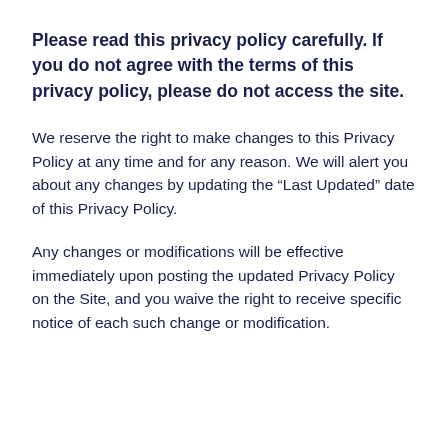Please read this privacy policy carefully. If you do not agree with the terms of this privacy policy, please do not access the site.
We reserve the right to make changes to this Privacy Policy at any time and for any reason. We will alert you about any changes by updating the “Last Updated” date of this Privacy Policy.
Any changes or modifications will be effective immediately upon posting the updated Privacy Policy on the Site, and you waive the right to receive specific notice of each such change or modification.